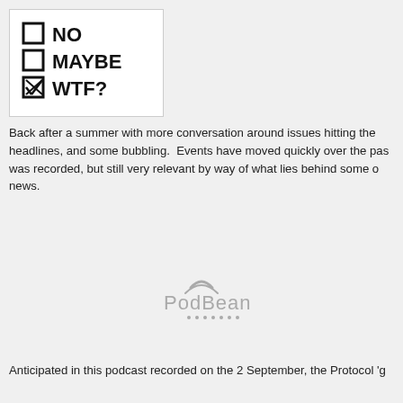[Figure (illustration): Hand-drawn checklist image with three items: empty checkbox 'NO', empty checkbox 'MAYBE', checked checkbox 'WTF?' on white background with border]
Back after a summer with more conversation around issues hitting the headlines, and some bubbling. Events have moved quickly over the past was recorded, but still very relevant by way of what lies behind some o news.
[Figure (logo): PodBean logo with wifi arc above the letter P and dots below the text]
Anticipated in this podcast recorded on the 2 September, the Protocol 'g